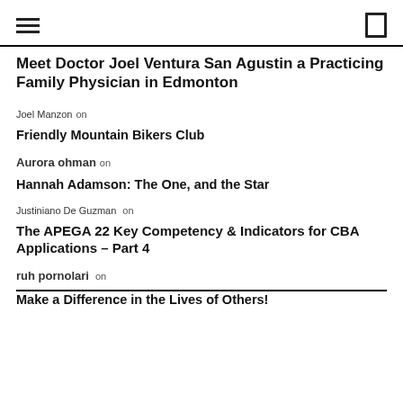[hamburger menu icon] [search icon]
Meet Doctor Joel Ventura San Agustin a Practicing Family Physician in Edmonton
Joel Manzon on
Friendly Mountain Bikers Club
Aurora ohman on
Hannah Adamson: The One, and the Star
Justiniano De Guzman on
The APEGA 22 Key Competency & Indicators for CBA Applications – Part 4
ruh pornolari on
Make a Difference in the Lives of Others!